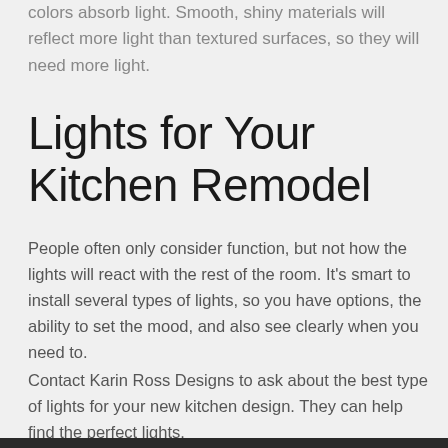Light colors will make the light bounce around. Dark colors absorb light. Smooth, shiny materials will reflect more light than textured surfaces, so they will need more light.
Lights for Your Kitchen Remodel
People often only consider function, but not how the lights will react with the rest of the room. It's smart to install several types of lights, so you have options, the ability to set the mood, and also see clearly when you need to.
Contact Karin Ross Designs to ask about the best type of lights for your new kitchen design. They can help find the perfect lights.